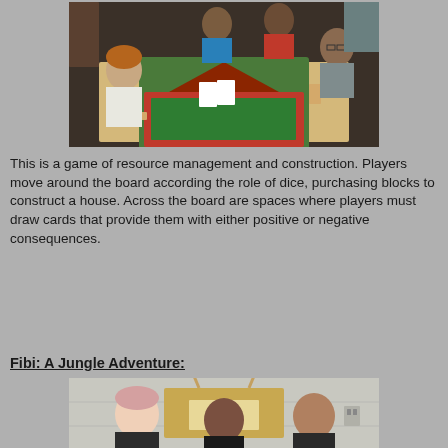[Figure (photo): Four teenagers sitting around a table playing a board game. The board has a house-shaped path with red and green squares, and there are cards and wooden blocks on the table. One student wears a blue shirt, another a red striped shirt, another a gray hoodie, and one with reddish hair faces the camera.]
This is a game of resource management and construction. Players move around the board according the role of dice, purchasing blocks to construct a house.  Across the board are spaces where players must draw cards that provide them with either positive or negative consequences.
Fibi: A Jungle Adventure:
[Figure (photo): Three young girls standing in front of a cardboard display with a sign that reads 'Fibi'. They appear to be in a classroom with tile walls. Wooden sticks are visible on top of the display.]